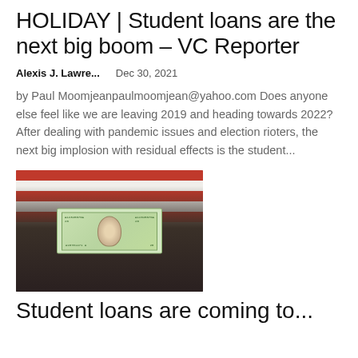HOLIDAY | Student loans are the next big boom – VC Reporter
Alexis J. Lawre...    Dec 30, 2021
by Paul Moomjeanpaulmoomjean@yahoo.com Does anyone else feel like we are leaving 2019 and heading towards 2022? After dealing with pandemic issues and election rioters, the next big implosion with residual effects is the student...
[Figure (photo): Person holding a $20 US dollar bill in front of an American flag background]
Student loans are coming to...